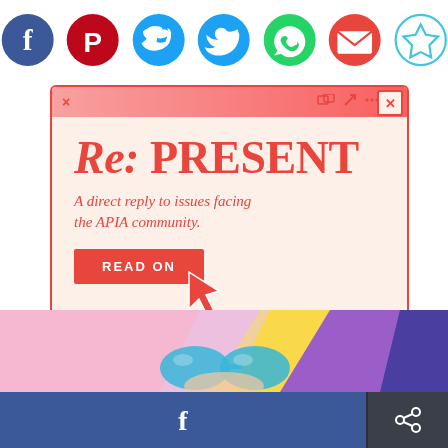[Figure (infographic): Row of 6 social media / share icon circles: Facebook (dark blue), Pinterest (dark red), Twitter (blue), Chat/Messenger (green), Email/Mail (pink-red), Bookmark/Star (light blue outline)]
[Figure (screenshot): Browser window mockup with pink-to-red gradient title bar, showing 'Re: PRESENT' headline in red serif font, subtext 'A direct reply to issues facing the APIA community.', and a red 'READ ON' button with a cursor arrow icon. Background is cream/peach.]
[Figure (illustration): Colorful banner strip at bottom with pink, yellow, purple, and blue diagonal gradient shapes, with illustrated glasses/sunglasses and partial face visible.]
[Figure (infographic): Bottom navigation bar split into Facebook share button (blue, with f logo) and a general share button (dark grey, with share icon).]